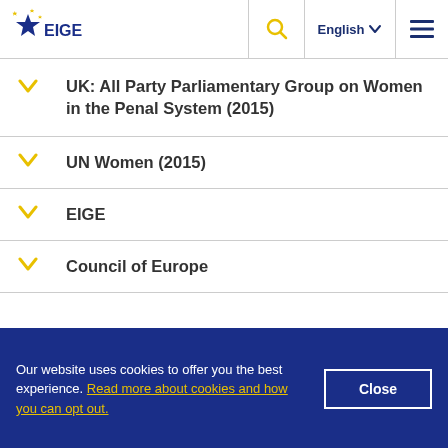EIGE — English navigation header with search icon, language selector, and menu icon
UK: All Party Parliamentary Group on Women in the Penal System (2015)
UN Women (2015)
EIGE
Council of Europe
Our website uses cookies to offer you the best experience. Read more about cookies and how you can opt out.